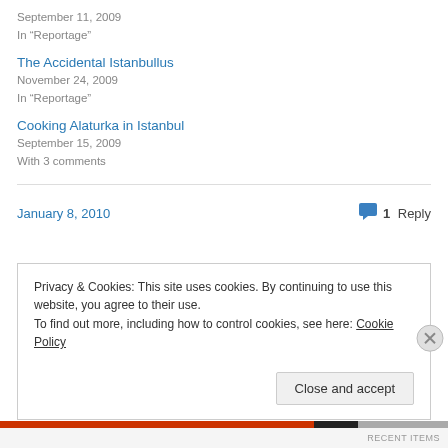September 11, 2009
In "Reportage"
The Accidental Istanbullus
November 24, 2009
In "Reportage"
Cooking Alaturka in Istanbul
September 15, 2009
With 3 comments
January 8, 2010
1 Reply
Privacy & Cookies: This site uses cookies. By continuing to use this website, you agree to their use.
To find out more, including how to control cookies, see here: Cookie Policy
Close and accept